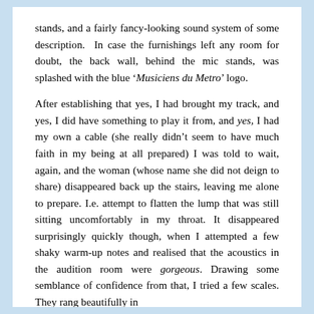stands, and a fairly fancy-looking sound system of some description. In case the furnishings left any room for doubt, the back wall, behind the mic stands, was splashed with the blue 'Musiciens du Metro' logo.

After establishing that yes, I had brought my track, and yes, I did have something to play it from, and yes, I had my own a cable (she really didn't seem to have much faith in my being at all prepared) I was told to wait, again, and the woman (whose name she did not deign to share) disappeared back up the stairs, leaving me alone to prepare. I.e. attempt to flatten the lump that was still sitting uncomfortably in my throat. It disappeared surprisingly quickly though, when I attempted a few shaky warm-up notes and realised that the acoustics in the audition room were gorgeous. Drawing some semblance of confidence from that, I tried a few scales. They rang beautifully in